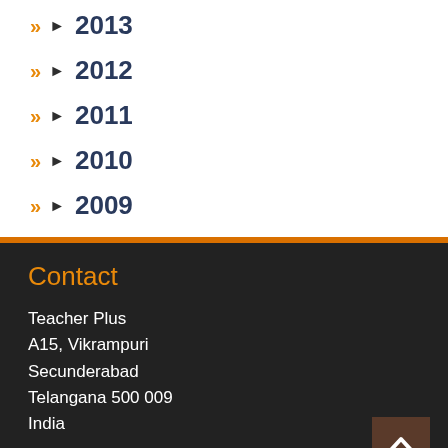2013
2012
2011
2010
2009
Contact
Teacher Plus
A15, Vikrampuri
Secunderabad
Telangana 500 009
India
Subscribe
Contact
Teacher Plus
A15, Vikrampuri
Secunderabad
Telangana 500 009
India
Subscribe